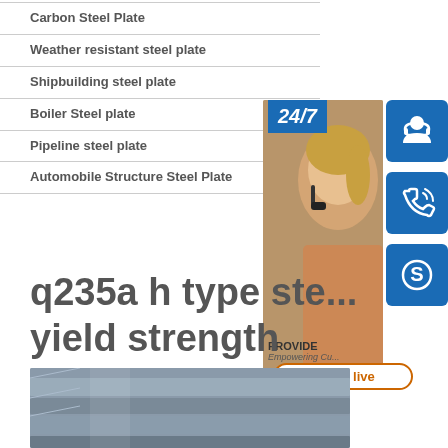Carbon Steel Plate
Weather resistant steel plate
Shipbuilding steel plate
Boiler Steel plate
Pipeline steel plate
Automobile Structure Steel Plate
[Figure (photo): Customer service representative with headset and online chat widget showing 24/7 support icons]
q235a h type steel yield strength
[Figure (photo): Stacked steel plates photograph]